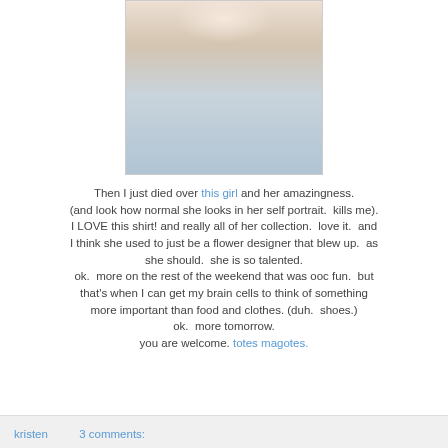[Figure (photo): A young woman wearing a pale pink/cream short-sleeve top and a light blue pleated skirt, photographed from the neck down against a light background. She is also wearing a necklace.]
Then I just died over this girl and her amazingness. (and look how normal she looks in her self portrait.  kills me).  I LOVE this shirt! and really all of her collection.  love it.  and I think she used to just be a flower designer that blew up.  as she should.  she is so talented.
ok.  more on the rest of the weekend that was ooc fun.  but that's when I can get my brain cells to think of something more important than food and clothes. (duh.  shoes.)
ok.  more tomorrow.
you are welcome. totes magotes.
kristen   3 comments: